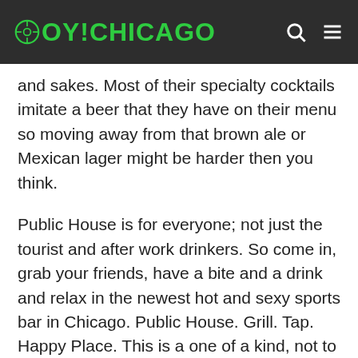OY!CHICAGO
and sakes. Most of their specialty cocktails imitate a beer that they have on their menu so moving away from that brown ale or Mexican lager might be harder then you think.
Public House is for everyone; not just the tourist and after work drinkers. So come in, grab your friends, have a bite and a drink and relax in the newest hot and sexy sports bar in Chicago. Public House. Grill. Tap. Happy Place. This is a one of a kind, not to be missed, dining and drinking experience.
[Figure (other): Social sharing buttons: Facebook, Twitter, Email, Pinterest, Plus, and a count box showing 0]
Last Edited by Lindsey  2 at 8/22/2011 11:39 AM